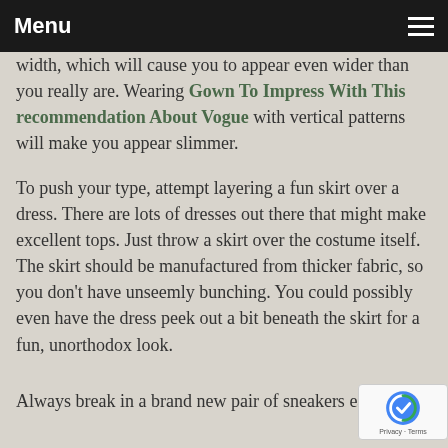Menu
frame, avoid horizontal stripes. Vogue Tips That may Get Folks Noticing You put better emphasis in your width, which will cause you to appear even wider than you really are. Wearing Gown To Impress With This recommendation About Vogue with vertical patterns will make you appear slimmer.
To push your type, attempt layering a fun skirt over a dress. There are lots of dresses out there that might make excellent tops. Just throw a skirt over the costume itself. The skirt should be manufactured from thicker fabric, so you don't have unseemly bunching. You could possibly even have the dress peek out a bit beneath the skirt for a fun, unorthodox look.
Always break in a brand new pair of sneakers earlier